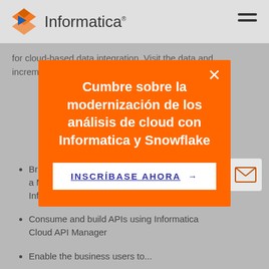Informatica
for cloud-based data integration. Visit the data and incremental...
[Figure (screenshot): Orange modal popup overlay with white X close button, title 'Cumbre sobre la modernización de los análisis de cloud con Informatica y Snowflake', and a white CTA button 'INSCRÍBASE AHORA →']
Bring data into a Microsoft SQL Server data warehouse using Informatica Cloud Data Integration
Consume and build APIs using Informatica Cloud API Manager
Enable the business users to...